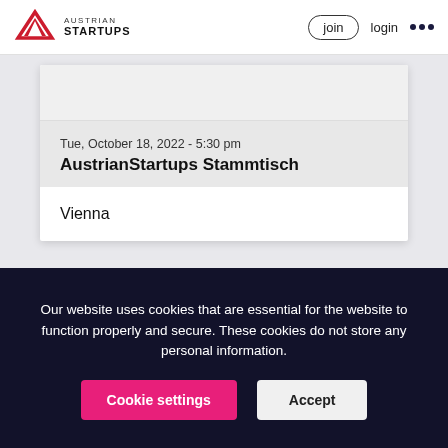Austrian Startups — join  login  •••
Tue, October 18, 2022 - 5:30 pm
AustrianStartups Stammtisch
Vienna
Our website uses cookies that are essential for the website to function properly and secure. These cookies do not store any personal information.
Cookie settings  Accept